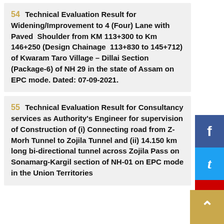54    Technical Evaluation Result for Widening/Improvement to 4 (Four) Lane with Paved  Shoulder from KM 113+300 to Km 146+250 (Design Chainage  113+830 to 145+712) of Kwaram Taro Village – Dillai Section  (Package-6) of NH 29 in the state of Assam on EPC mode. Dated: 07-09-2021.
55    Technical Evaluation Result for Consultancy services as Authority's Engineer for supervision of Construction of (i) Connecting road from Z-Morh Tunnel to Zojila Tunnel and (ii) 14.150 km long bi-directional tunnel across Zojila Pass on Sonamarg-Kargil section of NH-01 on EPC mode in the Union Territories